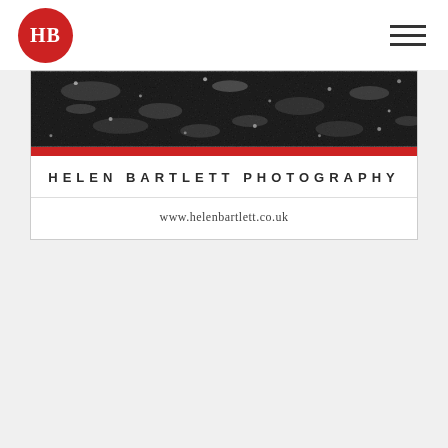[Figure (logo): Red circular logo with white 'HB' initials in serif font, representing Helen Bartlett Photography]
[Figure (other): Hamburger menu icon (three horizontal lines) in top right corner of navigation bar]
[Figure (photo): Black and white close-up photograph of dark gravel/rocks/ground texture with some light reflections]
HELEN BARTLETT PHOTOGRAPHY
www.helenbartlett.co.uk